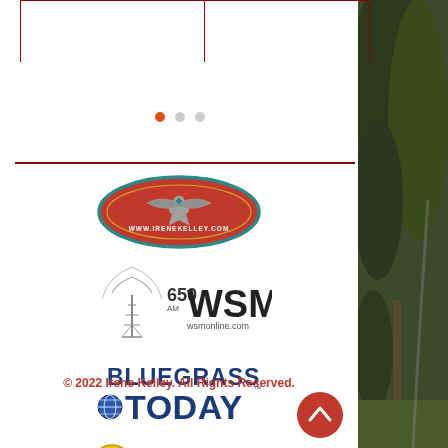[Figure (logo): Irene Kelley website logo - red oval with thunderbird and www.irenekelley.com text]
[Figure (logo): 650 AM WSM wsmonline.com radio station logo with antenna tower graphic]
[Figure (logo): Bluegrass Today logo with blue globe and bold text]
[Figure (logo): IBMA International Bluegrass Music Association logo with microphone icon]
© 2022 Irene Kelley. All Rights Reserved.